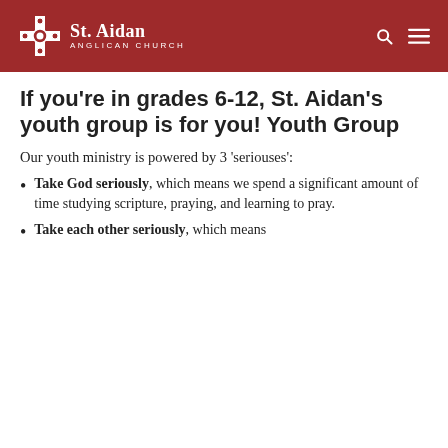St. Aidan Anglican Church
If you're in grades 6-12, St. Aidan's youth group is for you! Youth Group
Our youth ministry is powered by 3 'seriouses':
Take God seriously, which means we spend a significant amount of time studying scripture, praying, and learning to pray.
Take each other seriously, which means